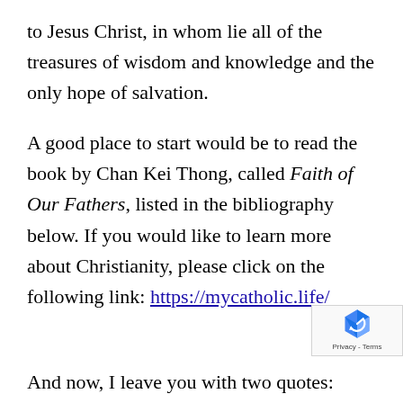to Jesus Christ, in whom lie all of the treasures of wisdom and knowledge and the only hope of salvation.
A good place to start would be to read the book by Chan Kei Thong, called Faith of Our Fathers, listed in the bibliography below. If you would like to learn more about Christianity, please click on the following link: https://mycatholic.life/
And now, I leave you with two quotes: